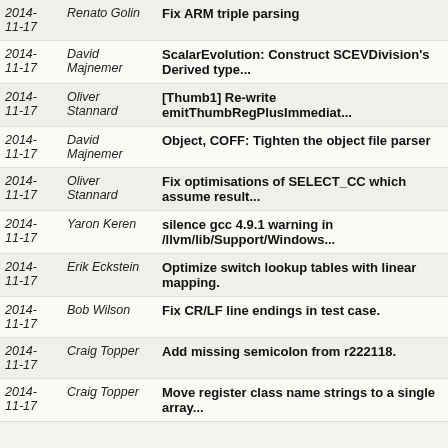| Date | Author | Commit Message |
| --- | --- | --- |
| 2014-11-17 | Renato Golin | Fix ARM triple parsing |
| 2014-11-17 | David Majnemer | ScalarEvolution: Construct SCEVDivision's Derived type... |
| 2014-11-17 | Oliver Stannard | [Thumb1] Re-write emitThumbRegPlusImmediat... |
| 2014-11-17 | David Majnemer | Object, COFF: Tighten the object file parser |
| 2014-11-17 | Oliver Stannard | Fix optimisations of SELECT_CC which assume result... |
| 2014-11-17 | Yaron Keren | silence gcc 4.9.1 warning in /llvm/lib/Support/Windows... |
| 2014-11-17 | Erik Eckstein | Optimize switch lookup tables with linear mapping. |
| 2014-11-17 | Bob Wilson | Fix CR/LF line endings in test case. |
| 2014-11-17 | Craig Topper | Add missing semicolon from r222118. |
| 2014-11-17 | Craig Topper | Move register class name strings to a single array... |